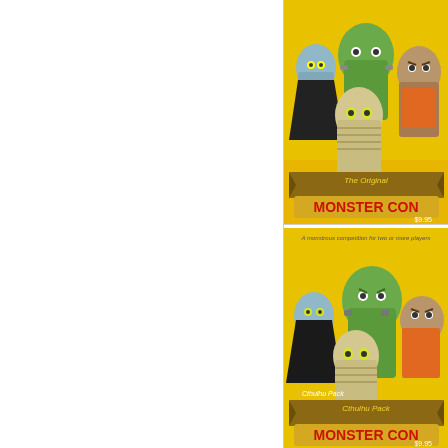[Figure (illustration): Product listing image: The Original Monster Con card game box art showing cartoon monster characters (vampire, Frankenstein, werewolf, mummy) on a yellow background with '$9.95' price. Title ribbon reads 'The Original MONSTER CON'.]
Mons... [title truncated] ★★☆ Game... players... Honor... intend... and Fr...
[Figure (illustration): Product listing image: Monster Con Cthulhu Pack expansion box art showing cartoon monster characters on yellow background. Text reads 'A monstrous competition for two or more players', 'Cthulhu Pack', 'MONSTER CON', '$9.95'.]
Mons... [title truncated] ★★☆ Game... players... Honor... intend... queen...
[Figure (illustration): Partial product listing image at bottom: Another Monster Con variant, 'A monstrous competition for two or more players' visible at top.]
Retu... [title truncated] ★★☆